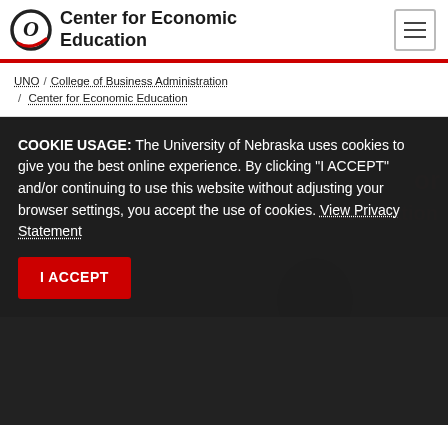Center for Economic Education
UNO / College of Business Administration / Center for Economic Education
COOKIE USAGE: The University of Nebraska uses cookies to give you the best online experience. By clicking "I ACCEPT" and/or continuing to use this website without adjusting your browser settings, you accept the use of cookies. View Privacy Statement
I ACCEPT
[Figure (photo): Dark background photo of a person, partially obscured by cookie consent overlay]